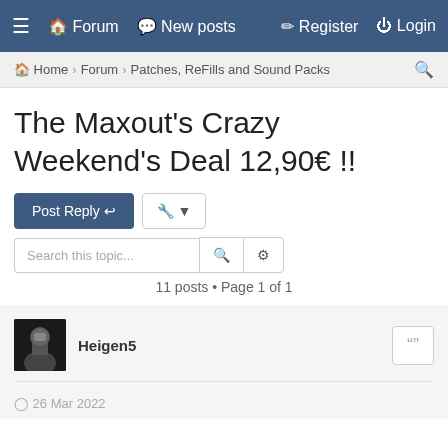≡  🏠 Forum  💬 New posts    ✎ Register  ⏻ Login
🏠 Home › Forum › Patches, ReFills and Sound Packs  🔍
The Maxout's Crazy Weekend's Deal 12,90€ !!
Post Reply  🔧 ▾
Search this topic...  🔍  ⚙
11 posts • Page 1 of 1
Heigen5
© 26 Mar 2022